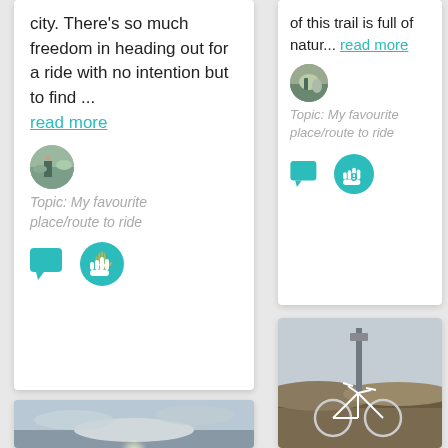city. There’s so much freedom in heading out for a ride with no intention but to find ... read more
[Figure (photo): Circular avatar photo of a person in mountains/nature scene]
Topic: My favourite place/route to ride
[Figure (infographic): Teal chat bubble icon and teal hand icon with number 2]
of this trail is full of natur... read more
[Figure (photo): Circular avatar photo of a cyclist]
Topic: My favourite place/route to ride
[Figure (infographic): Teal chat bubble icon and teal hand icon with number 9]
[Figure (photo): Photo of cloudy sky with sun breaking through]
[Figure (photo): Photo of a white road bike leaned against a sign post on moorland]